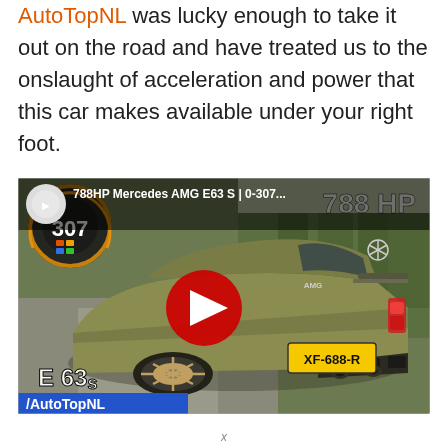AutoTopNL was lucky enough to take it out on the road and have treated us to the onslaught of acceleration and power that this car makes available under your right foot.
[Figure (screenshot): YouTube video thumbnail for '788HP Mercedes AMG E63 S | 0-307...' showing a matte olive/gold Mercedes-AMG E63 S from the rear three-quarter view on a road, with license plate XF-688-R, '788 HP' text in top right, speedometer showing 307, 'E 63s' text bottom left, '/AutoTopNL' blue banner bottom left, and a YouTube play button in the center.]
x